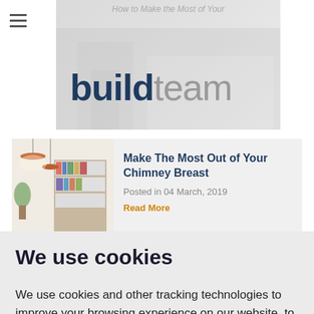[Figure (logo): BuildTeam logo with faded building/room background and text overlay 'How to Make the Most of Your...']
[Figure (photo): Interior room with pendant lights, bookshelf, and white walls — thumbnail for chimney breast article]
Make The Most Out of Your Chimney Breast
Posted in 04 March, 2019
Read More
[Figure (photo): Interior hallway or ceiling with blue tones — thumbnail for Build Team Site Visit article]
What to Expect from a Build Team Site Visit
We use cookies
We use cookies and other tracking technologies to improve your browsing experience on our website, to show you personalized content and targeted ads, to